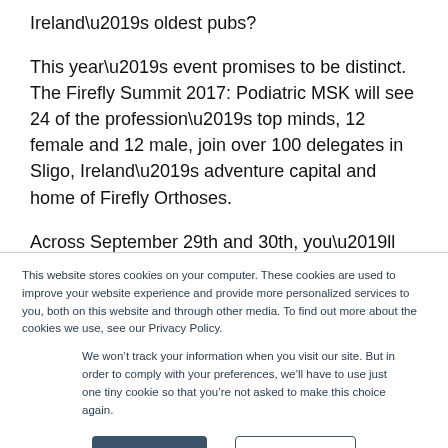Ireland’s oldest pubs?
This year’s event promises to be distinct. The Firefly Summit 2017: Podiatric MSK will see 24 of the profession’s top minds, 12 female and 12 male, join over 100 delegates in Sligo, Ireland’s adventure capital and home of Firefly Orthoses.
Across September 29th and 30th, you’ll have the
This website stores cookies on your computer. These cookies are used to improve your website experience and provide more personalized services to you, both on this website and through other media. To find out more about the cookies we use, see our Privacy Policy.
We won’t track your information when you visit our site. But in order to comply with your preferences, we’ll have to use just one tiny cookie so that you’re not asked to make this choice again.
Accept
Decline